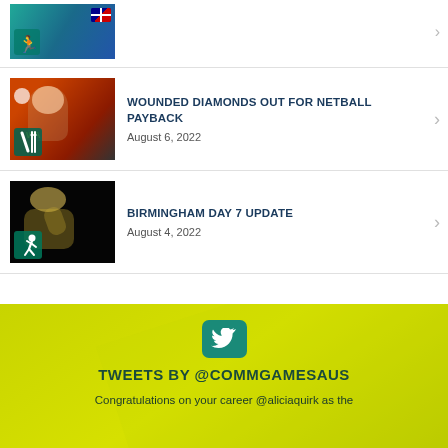[Figure (photo): Partial news item thumbnail at top - Australian athlete with teal/green background and runner icon overlay]
[Figure (photo): Netball player in green and gold Australian uniform on orange-red background with cricket icon overlay]
WOUNDED DIAMONDS OUT FOR NETBALL PAYBACK
August 6, 2022
[Figure (photo): Male athlete celebrating on black background with runner icon overlay]
BIRMINGHAM DAY 7 UPDATE
August 4, 2022
[Figure (logo): Twitter bird logo icon in teal/green square]
TWEETS BY @COMMGAMESAUS
Congratulations on your career @aliciaquirk as the